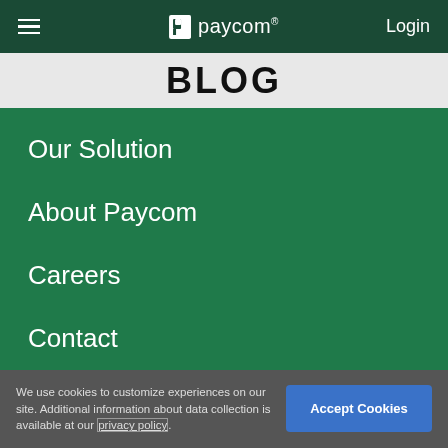Paycom navigation bar with hamburger menu, Paycom logo, and Login link
BLOG
Our Solution
About Paycom
Careers
Contact
We use cookies to customize experiences on our site. Additional information about data collection is available at our privacy policy.